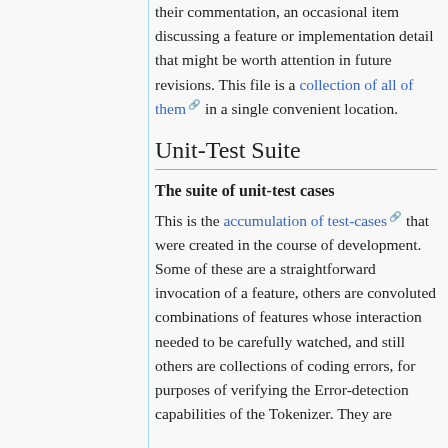their commentation, an occasional item discussing a feature or implementation detail that might be worth attention in future revisions. This file is a collection of all of them in a single convenient location.
Unit-Test Suite
The suite of unit-test cases
This is the accumulation of test-cases that were created in the course of development. Some of these are a straightforward invocation of a feature, others are convoluted combinations of features whose interaction needed to be carefully watched, and still others are collections of coding errors, for purposes of verifying the Error-detection capabilities of the Tokenizer. They are